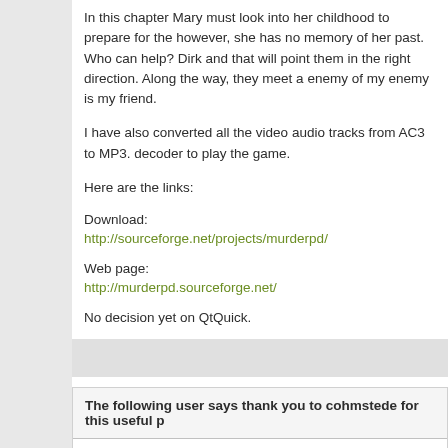In this chapter Mary must look into her childhood to prepare for the however, she has no memory of her past. Who can help? Dirk and that will point them in the right direction. Along the way, they meet a enemy of my enemy is my friend.
I have also converted all the video audio tracks from AC3 to MP3. decoder to play the game.
Here are the links:
Download:
http://sourceforge.net/projects/murderpd/
Web page:
http://murderpd.sourceforge.net/
No decision yet on QtQuick.
The following user says thank you to cohmstede for this useful p
1st June 2013,   03:52